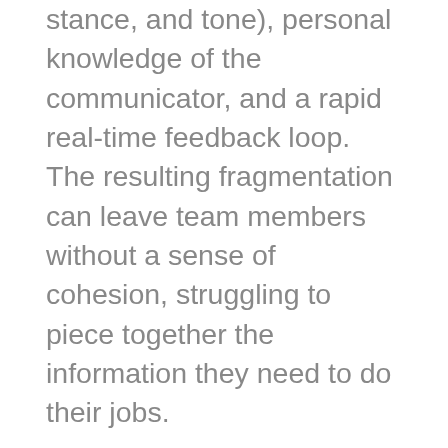stance, and tone), personal knowledge of the communicator, and a rapid real-time feedback loop. The resulting fragmentation can leave team members without a sense of cohesion, struggling to piece together the information they need to do their jobs.
By viewing collaboration software through a different lens, rather than as just a traditional business tool, managers can give their teams an opportunity for self-expression, spontaneous contribution, as well as a way to build credibility and rapport with their colleagues. Think of collaboration software as